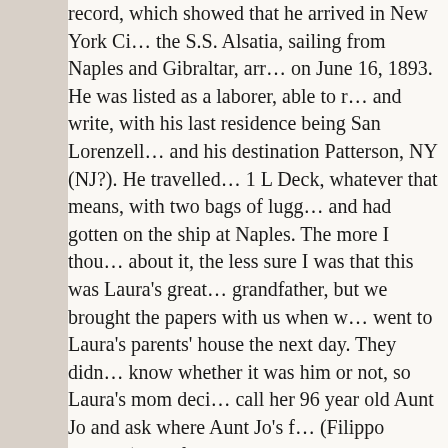record, which showed that he arrived in New York City on the S.S. Alsatia, sailing from Naples and Gibraltar, arriving on June 16, 1893. He was listed as a laborer, able to read and write, with his last residence being San Lorenzello, and his destination Patterson, NY (NJ?). He travelled in 1 L Deck, whatever that means, with two bags of luggage and had gotten on the ship at Naples. The more I thought about it, the less sure I was that this was Laura's great grandfather, but we brought the papers with us when we went to Laura's parents' house the next day. They didn't know whether it was him or not, so Laura's mom decided to call her 96 year old Aunt Jo and ask where Aunt Jo's father (Filippo Saracco) was from. She told us that he was from Faicchio in the province of Benavento. We asked about Lorenzello, and she replied that her father used to talk about San Lorenzo(sic) all the time, and that he had lived there too. She also told us that he had originally come to America in 1881, but eventually went back, returning to America in 1893 at the age of 26. Bingo! So what we found was the record of his second trip to America.
Laura's mom closed the conversation by saying that she was going to send me and Laura down sometime (soon!) to talk to her. I hope we can still do that, but since that phone call, Aunt Jo has gotten very sick, and went into the hospital